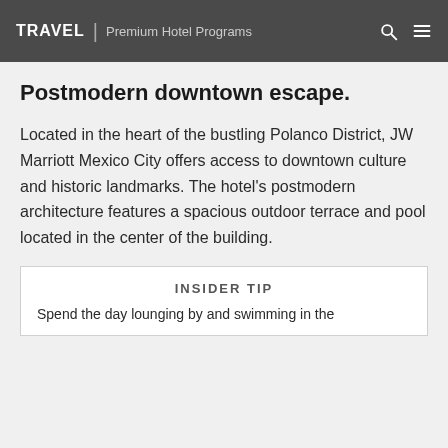TRAVEL | Premium Hotel Programs
Postmodern downtown escape.
Located in the heart of the bustling Polanco District, JW Marriott Mexico City offers access to downtown culture and historic landmarks. The hotel's postmodern architecture features a spacious outdoor terrace and pool located in the center of the building.
INSIDER TIP
Spend the day lounging by and swimming in the